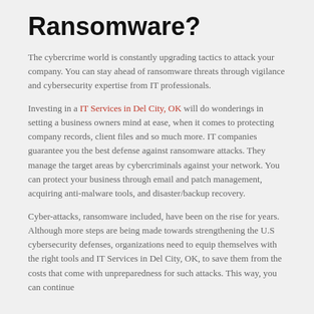Ransomware?
The cybercrime world is constantly upgrading tactics to attack your company. You can stay ahead of ransomware threats through vigilance and cybersecurity expertise from IT professionals.
Investing in a IT Services in Del City, OK will do wonderings in setting a business owners mind at ease, when it comes to protecting company records, client files and so much more. IT companies guarantee you the best defense against ransomware attacks. They manage the target areas by cybercriminals against your network. You can protect your business through email and patch management, acquiring anti-malware tools, and disaster/backup recovery.
Cyber-attacks, ransomware included, have been on the rise for years. Although more steps are being made towards strengthening the U.S cybersecurity defenses, organizations need to equip themselves with the right tools and IT Services in Del City, OK, to save them from the costs that come with unpreparedness for such attacks. This way, you can continue